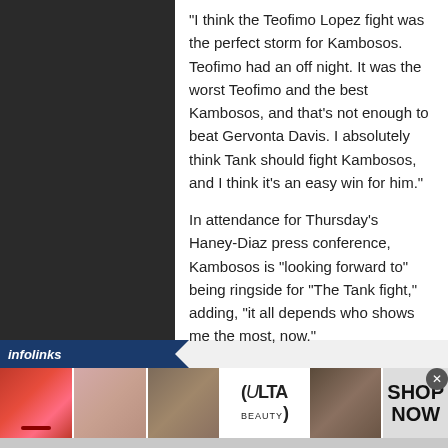“I think the Teofimo Lopez fight was the perfect storm for Kambosos. Teofimo had an off night. It was the worst Teofimo and the best Kambosos, and that’s not enough to beat Gervonta Davis. I absolutely think Tank should fight Kambosos, and I think it’s an easy win for him.”
In attendance for Thursday’s Haney-Diaz press conference, Kambosos is “looking forward to” being ringside for “The Tank fight,” adding, “it all depends who shows me the most, now.”
[Figure (other): Advertisement banner for ULTA Beauty showing makeup-themed images: lips with makeup brush, eye makeup, ULTA Beauty logo, eye makeup close-up, and SHOP NOW call to action]